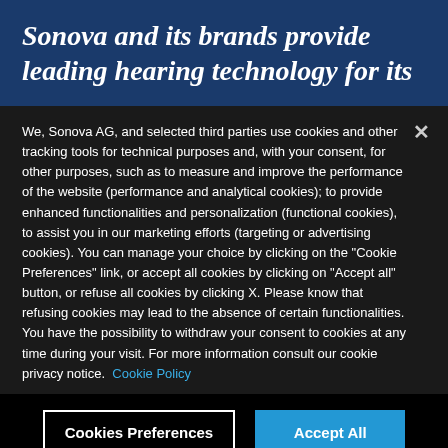Sonova and its brands provide leading hearing technology for its
We, Sonova AG, and selected third parties use cookies and other tracking tools for technical purposes and, with your consent, for other purposes, such as to measure and improve the performance of the website (performance and analytical cookies); to provide enhanced functionalities and personalization (functional cookies), to assist you in our marketing efforts (targeting or advertising cookies). You can manage your choice by clicking on the "Cookie Preferences" link, or accept all cookies by clicking on "Accept all" button, or refuse all cookies by clicking X. Please know that refusing cookies may lead to the absence of certain functionalities. You have the possibility to withdraw your consent to cookies at any time during your visit. For more information consult our cookie privacy notice. Cookie Policy
Cookies Preferences | Accept All